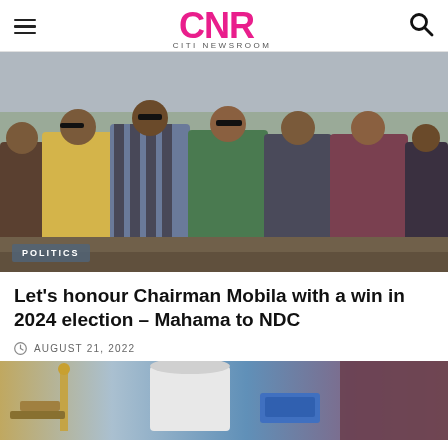CNR CITI NEWSROOM
[Figure (photo): Group of men seated in chairs at an outdoor event, wearing traditional and formal attire; POLITICS badge in bottom left corner]
Let's honour Chairman Mobila with a win in 2024 election – Mahama to NDC
AUGUST 21, 2022
[Figure (photo): Partial view of objects on a surface, bottom of page]